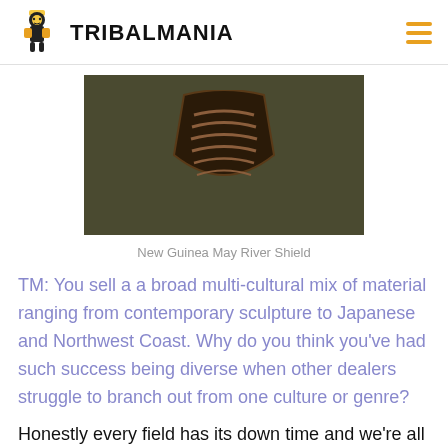TRIBALMANIA
[Figure (photo): A dark background image showing a New Guinea May River Shield with ribbed brown surface details]
New Guinea May River Shield
TM:  You sell a a broad multi-cultural mix  of material ranging from contemporary sculpture to Japanese and Northwest Coast.  Why do you think you've had such success being diverse when other dealers struggle to branch out from one culture or genre?
Honestly every field has its down time and we're all